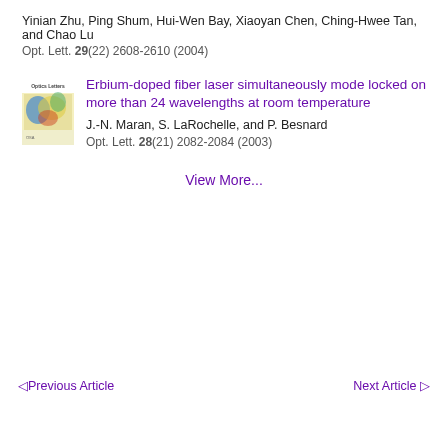Yinian Zhu, Ping Shum, Hui-Wen Bay, Xiaoyan Chen, Ching-Hwee Tan, and Chao Lu
Opt. Lett. 29(22) 2608-2610 (2004)
[Figure (photo): Journal cover thumbnail for Optics Letters]
Erbium-doped fiber laser simultaneously mode locked on more than 24 wavelengths at room temperature
J.-N. Maran, S. LaRochelle, and P. Besnard
Opt. Lett. 28(21) 2082-2084 (2003)
View More...
◁ Previous Article
Next Article ▷